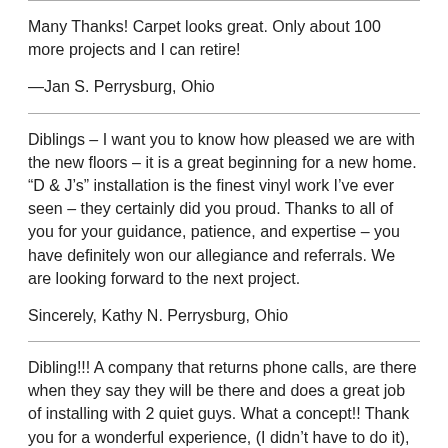Many Thanks! Carpet looks great. Only about 100 more projects and I can retire!
—Jan S. Perrysburg, Ohio
Diblings – I want you to know how pleased we are with the new floors – it is a great beginning for a new home. “D & J’s” installation is the finest vinyl work I’ve ever seen – they certainly did you proud. Thanks to all of you for your guidance, patience, and expertise – you have definitely won our allegiance and referrals. We are looking forward to the next project.
Sincerely, Kathy N. Perrysburg, Ohio
Dibling!!! A company that returns phone calls, are there when they say they will be there and does a great job of installing with 2 quiet guys. What a concept!! Thank you for a wonderful experience, (I didn’t have to do it), quality work, beautiful floor